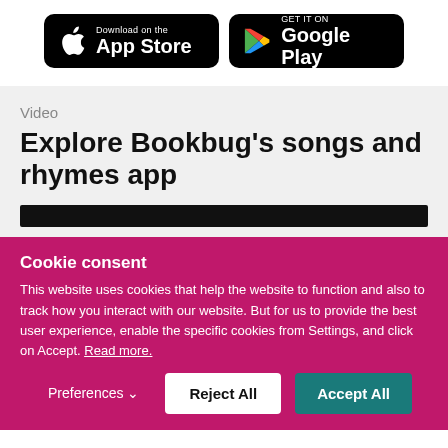[Figure (logo): App Store and Google Play download badges side by side on black rounded rectangle backgrounds]
Video
Explore Bookbug's songs and rhymes app
[Figure (screenshot): Dark video thumbnail bar]
Cookie consent
This website uses cookies that help the website to function and also to track how you interact with our website. But for us to provide the best user experience, enable the specific cookies from Settings, and click on Accept. Read more.
Preferences  Reject All  Accept All